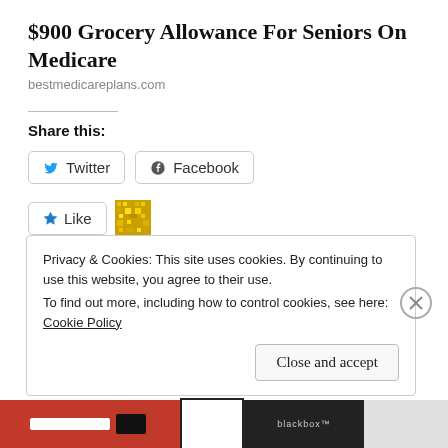$900 Grocery Allowance For Seniors On Medicare
bestmedicareplans.com
Share this:
[Figure (other): Twitter and Facebook social share buttons]
[Figure (other): Like button with star icon and a pixelated user avatar]
One blogger likes this.
Privacy & Cookies: This site uses cookies. By continuing to use this website, you agree to their use.
To find out more, including how to control cookies, see here: Cookie Policy
[Figure (other): Close and accept button and X dismiss icon for cookie notice]